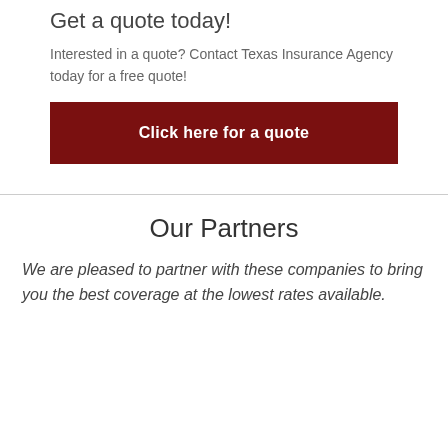Get a quote today!
Interested in a quote? Contact Texas Insurance Agency today for a free quote!
Click here for a quote
Our Partners
We are pleased to partner with these companies to bring you the best coverage at the lowest rates available.